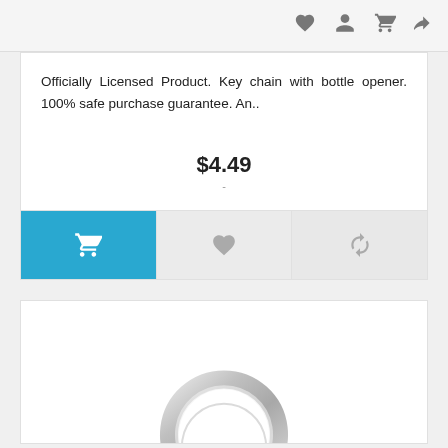Officially Licensed Product. Key chain with bottle opener. 100% safe purchase guarantee. An..
$4.49
[Figure (screenshot): Action bar with three buttons: blue cart button, grey heart/wishlist button, grey refresh button]
[Figure (photo): Product photo showing a silver metal key chain / bottle opener ring, partially visible at bottom of page]